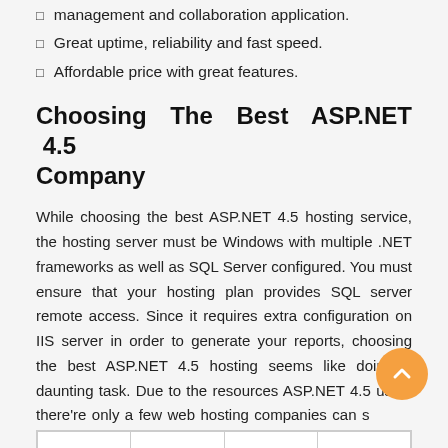management and collaboration application.
Great uptime, reliability and fast speed.
Affordable price with great features.
Choosing The Best ASP.NET 4.5 Company
While choosing the best ASP.NET 4.5 hosting service, the hosting server must be Windows with multiple .NET frameworks as well as SQL Server configured. You must ensure that your hosting plan provides SQL server remote access. Since it requires extra configuration on IIS server in order to generate your reports, choosing the best ASP.NET 4.5 hosting seems like doing a daunting task. Due to the resources ASP.NET 4.5 uses, there're only a few web hosting companies can support best ASP.NET 4.5 hosting. For fast, secure and best ASP.NET 4.5 hosting, just take a look at the solution below.